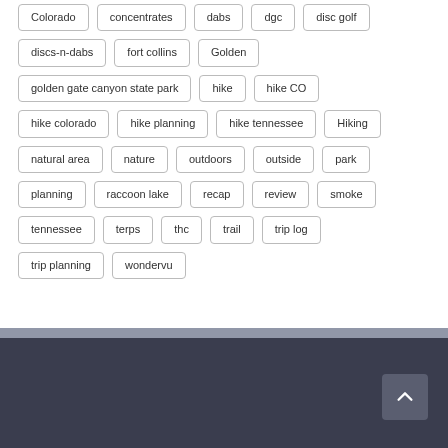Colorado
concentrates
dabs
dgc
disc golf
discs-n-dabs
fort collins
Golden
golden gate canyon state park
hike
hike CO
hike colorado
hike planning
hike tennessee
Hiking
natural area
nature
outdoors
outside
park
planning
raccoon lake
recap
review
smoke
tennessee
terps
thc
trail
trip log
trip planning
wondervu